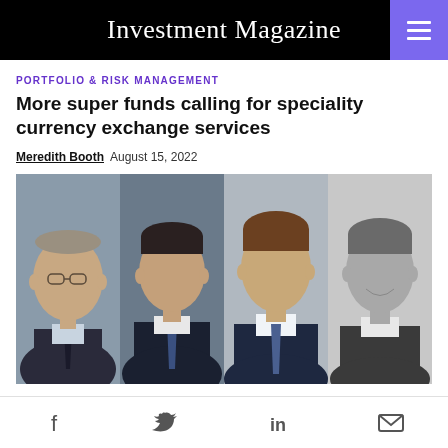Investment Magazine
PORTFOLIO & RISK MANAGEMENT
More super funds calling for speciality currency exchange services
Meredith Booth  August 15, 2022
[Figure (photo): Four professional headshots side by side: four men in business attire]
Social share icons: Facebook, Twitter, LinkedIn, Email